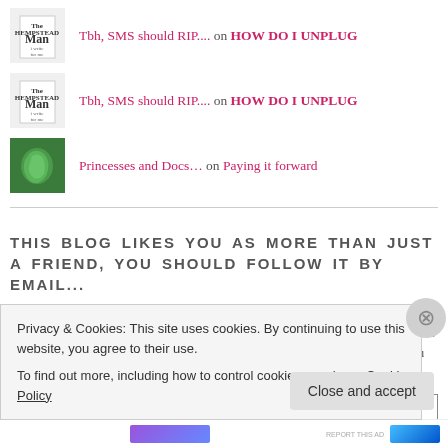Tbh, SMS should RIP.... on HOW DO I UNPLUG
Tbh, SMS should RIP.... on HOW DO I UNPLUG
Princesses and Docs... on Paying it forward
THIS BLOG LIKES YOU AS MORE THAN JUST A FRIEND, YOU SHOULD FOLLOW IT BY EMAIL...
So, I feel like we've gotten to know each other a little bit better. If you want to take it to that next level in our relationship you should enter your email address to follow this blog and receive notifications of new posts. It's 2013, you know you have an email address.
Email Address
Privacy & Cookies: This site uses cookies. By continuing to use this website, you agree to their use.
To find out more, including how to control cookies, see here: Cookie Policy
Close and accept